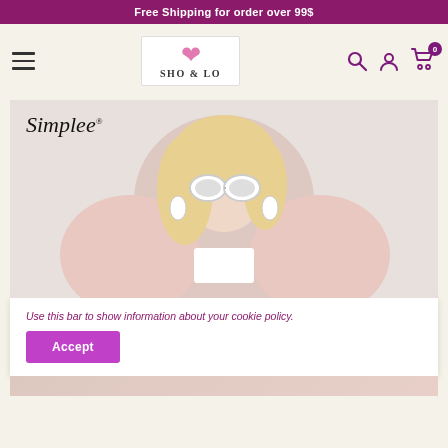Free Shipping for order over 99$
[Figure (logo): SHO & LO brand logo with pink heart and text]
[Figure (photo): Blonde woman wearing white round sunglasses, white top and pink fluffy coat, leaning against a white wall. Simplee brand name in top-left corner.]
Use this bar to show information about your cookie policy.
Accept